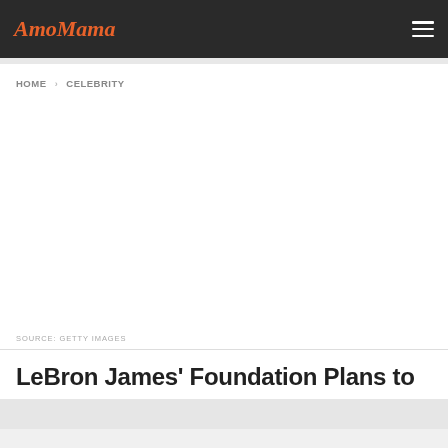AmoMama
HOME > CELEBRITY
[Figure (photo): Large image placeholder area (white/blank) representing a photo related to LeBron James' Foundation]
SOURCE: GETTY IMAGES
LeBron James' Foundation Plans to